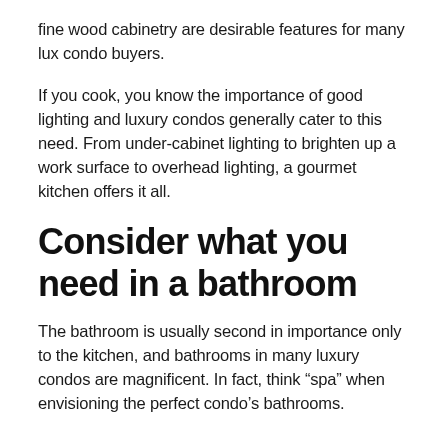fine wood cabinetry are desirable features for many lux condo buyers.
If you cook, you know the importance of good lighting and luxury condos generally cater to this need. From under-cabinet lighting to brighten up a work surface to overhead lighting, a gourmet kitchen offers it all.
Consider what you need in a bathroom
The bathroom is usually second in importance only to the kitchen, and bathrooms in many luxury condos are magnificent. In fact, think “spa” when envisioning the perfect condo’s bathrooms.